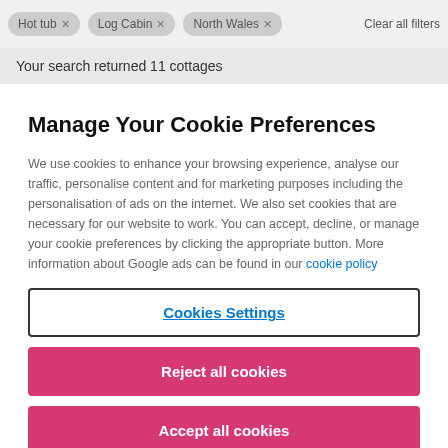Hot tub  Log Cabin  North Wales  Clear all filters
Your search returned 11 cottages
Manage Your Cookie Preferences
We use cookies to enhance your browsing experience, analyse our traffic, personalise content and for marketing purposes including the personalisation of ads on the internet. We also set cookies that are necessary for our website to work. You can accept, decline, or manage your cookie preferences by clicking the appropriate button. More information about Google ads can be found in our cookie policy
Cookies Settings
Reject all cookies
Accept all cookies